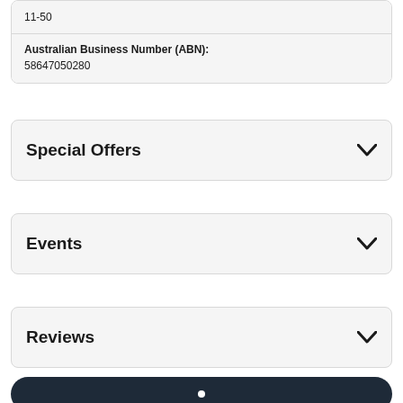11-50
Australian Business Number (ABN): 58647050280
Special Offers
Events
Reviews